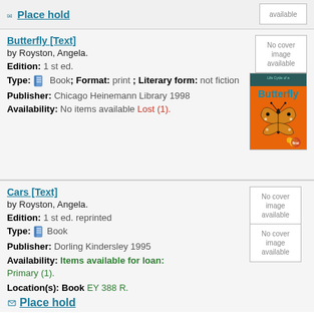Place hold
No cover image available
Butterfly [Text]
by Royston, Angela.
Edition: 1 st ed.
Type: Book; Format: print ; Literary form: not fiction
Publisher: Chicago Heinemann Library 1998
Availability: No items available Lost (1).
[Figure (illustration): Book cover for 'Life Cycle of a Butterfly' showing a monarch butterfly on an orange background with yellow flower]
Cars [Text]
by Royston, Angela.
Edition: 1 st ed. reprinted
Type: Book
Publisher: Dorling Kindersley 1995
Availability: Items available for loan: Primary (1).
Location(s): Book EY 388 R.
Place hold